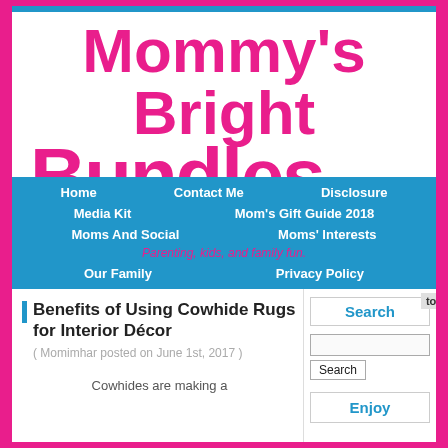Mommy's Bright Bundles
Parenting, kids, and family fun.
Home | Contact Me | Disclosure | Media Kit | Mom's Gift Guide 2018 | Moms And Social | Moms' Interests | Our Family | Privacy Policy
Benefits of Using Cowhide Rugs for Interior Décor
( Momimhar posted on June 1st, 2017 )
Cowhides are making a
Search
Enjoy